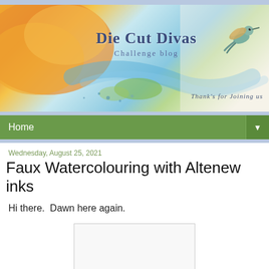[Figure (illustration): Watercolor banner header for Die Cut Divas Challenge Blog featuring colorful watercolor paint splashes in orange, yellow, blue, and green, with a hummingbird illustration on the right. Text reads 'Die Cut Divas Challenge Blog' and 'Thank's for Joining Us'.]
Home ▼
Wednesday, August 25, 2021
Faux Watercolouring with Altenew inks
Hi there.  Dawn here again.
[Figure (photo): A partially visible image placeholder (white/light gray rectangle with border)]